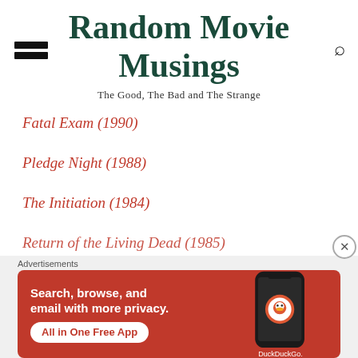Random Movie Musings
The Good, The Bad and The Strange
Fatal Exam (1990)
Pledge Night (1988)
The Initiation (1984)
Return of the Living Dead (1985)
[Figure (screenshot): DuckDuckGo advertisement banner: orange/red background with text 'Search, browse, and email with more privacy. All in One Free App' and a phone graphic showing the DuckDuckGo app logo]
Advertisements